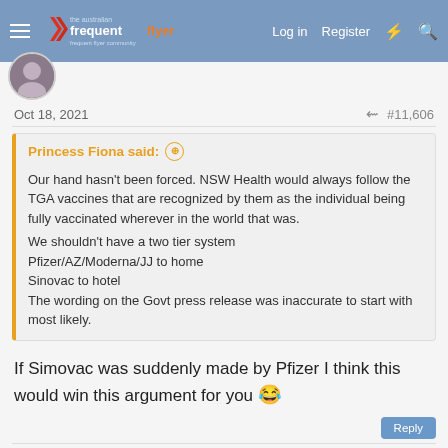The Australian Frequent Flyer — Log in  Register
Oct 18, 2021   #11,606
Princess Fiona said:
Our hand hasn't been forced. NSW Health would always follow the TGA vaccines that are recognized by them as the individual being fully vaccinated wherever in the world that was.
We shouldn't have a two tier system
Pfizer/AZ/Moderna/JJ to home
Sinovac to hotel
The wording on the Govt press release was inaccurate to start with most likely.
If Simovac was suddenly made by Pfizer I think this would win this argument for you 😂
openseat and dajop